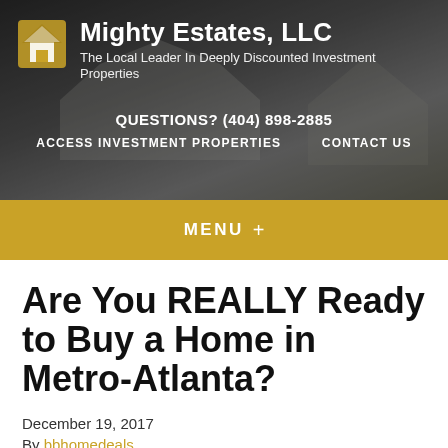Mighty Estates, LLC – The Local Leader In Deeply Discounted Investment Properties
QUESTIONS? (404) 898-2885
ACCESS INVESTMENT PROPERTIES   CONTACT US
MENU +
Are You REALLY Ready to Buy a Home in Metro-Atlanta?
December 19, 2017
By bbhomedeals